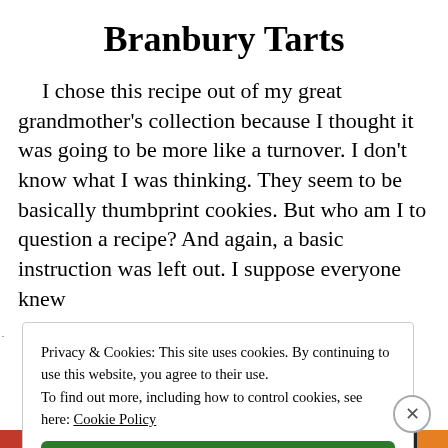Branbury Tarts
I chose this recipe out of my great grandmother's collection because I thought it was going to be more like a turnover. I don't know what I was thinking. They seem to be basically thumbprint cookies. But who am I to question a recipe? And again, a basic instruction was left out. I suppose everyone knew
Privacy & Cookies: This site uses cookies. By continuing to use this website, you agree to their use.
To find out more, including how to control cookies, see here: Cookie Policy
Close and accept